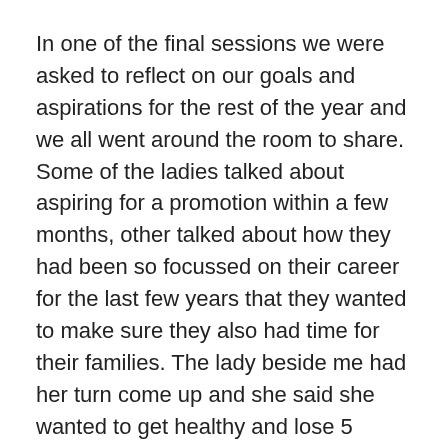In one of the final sessions we were asked to reflect on our goals and aspirations for the rest of the year and we all went around the room to share. Some of the ladies talked about aspiring for a promotion within a few months, other talked about how they had been so focussed on their career for the last few years that they wanted to make sure they also had time for their families. The lady beside me had her turn come up and she said she wanted to get healthy and lose 5 kilos… My turn was up and I said that my goal was that I would like to make a transition in to doing a different role at work, given I had been doing the same thing for a few years already.
That's what I said…
In reality – I was thinking about how I wish my fingers were nimble enough to pleat dumplings like the har gao